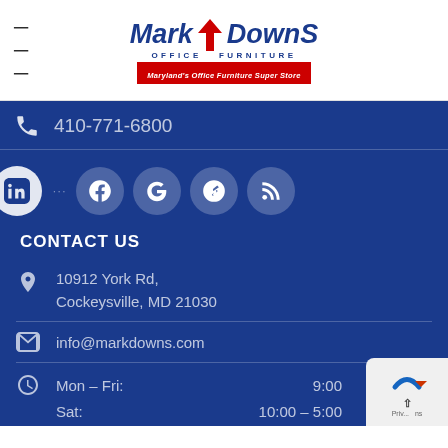[Figure (logo): Mark Downs Office Furniture logo — company name in bold italic blue with red arrow, subtitle 'OFFICE FURNITURE', tagline 'Maryland's Office Furniture Super Store' on red background]
410-771-6800
[Figure (infographic): Social media icon circles: LinkedIn, Facebook, Google, Yelp, RSS feed]
CONTACT US
10912 York Rd, Cockeysville, MD 21030
info@markdowns.com
Mon – Fri:   9:00
Sat:   10:00 – 5:00